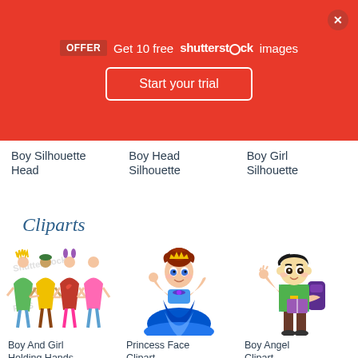[Figure (screenshot): Shutterstock promotional banner: red background with OFFER badge, 'Get 10 free shutterstock images', 'Start your trial' button and close X button]
Boy Silhouette Head
Boy Head Silhouette
Boy Girl Silhouette
Cliparts
[Figure (illustration): Clipart of boy and girl children holding hands, cartoon stick figures in colorful clothes with watermark text]
[Figure (illustration): Clipart of a princess in a blue gown with red hair and tiara, waving]
[Figure (illustration): Clipart of a boy angel in school uniform with backpack holding books, waving]
Boy And Girl Holding Hands
Princess Face Clipart
Boy Angel Clipart